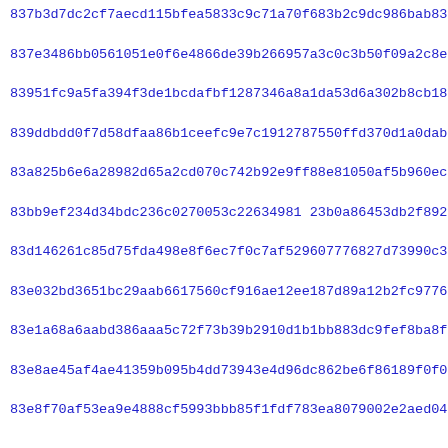837b3d7dc2cf7aecd115bfea5833c9c71a70f683b2c9dc986bab831d04573
837e3486bb0561051e0f6e4866de39b266957a3c0c3b50f09a2c8ecac0167
83951fc9a5fa394f3de1bcdafbf1287346a8a1da53d6a302b8cb18e7b2a0f
839ddbdd0f7d58dfaa86b1ceefc9e7c1912787550ffd370d1a0dabbe2ddfe
83a825b6e6a28982d65a2cd070c742b92e9ff88e81050af5b960ec2d4bf04
83bb9ef234d34bdc236c0270053c22634981 23b0a86453db2f8921af5a9e7
83d146261c85d75fda498e8f6ec7f0c7af529607776827d73990c332f6b314
83e032bd3651bc29aab6617560cf916ae12ee187d89a12b2fc9776f02b4fb
83e1a68a6aabd386aaa5c72f73b39b2910d1b1bb883dc9fef8ba8f554ff03
83e8ae45af4ae41359b095b4dd73943e4d96dc862be6f86189f0f0d2eb3ca
83e8f70af53ea9e4888cf5993bbb85f1fdf783ea8079002e2aed0485484bd